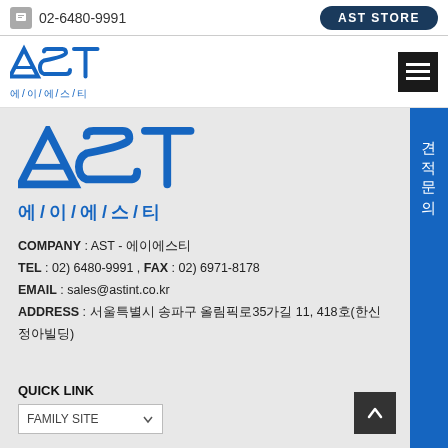02-6480-9991  AST STORE
[Figure (logo): AST 에/이/에/스/티 company logo, small version in header]
[Figure (logo): AST 에/이/에/스/티 company logo, large version in main content]
COMPANY : AST - 에이에스티
TEL : 02) 6480-9991 , FAX : 02) 6971-8178
EMAIL : sales@astint.co.kr
ADDRESS : 서울특별시 송파구 올림픽로35가길 11, 418호(한신정아빌딩)
QUICK LINK
FAMILY SITE